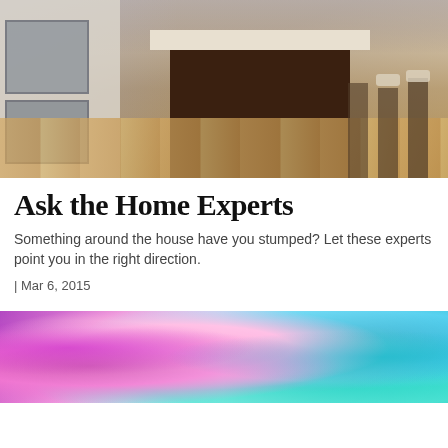[Figure (photo): Kitchen interior with dark brown island with white marble countertop, white cabinets, stainless steel appliances, and light wood flooring]
Ask the Home Experts
Something around the house have you stumped? Let these experts point you in the right direction.
| Mar 6, 2015
[Figure (photo): Close-up of colorful craft supplies including pink feathers, teal/turquoise glitter and sparkly decorations]